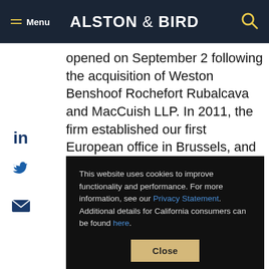ALSTON & BIRD
opened on September 2 following the acquisition of Weston Benshoof Rochefort Rubalcava and MacCuish LLP. In 2011, the firm established our first European office in Brussels, and in September 2015 continued our
[Figure (screenshot): Cookie consent banner overlay with text: This website uses cookies to improve functionality and performance. For more information, see our Privacy Statement. Additional details for California consumers can be found here. Close button below.]
rnia to three locations. Our European footprint expanded in 2019 with the